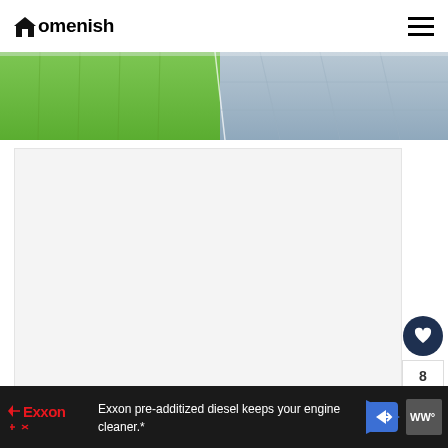[Figure (logo): Homenish website logo with house icon]
[Figure (photo): Split image showing green grass lawn on left and concrete/pavement surface being pressure washed on right]
[Figure (screenshot): Light gray content placeholder box — advertisement or article content area]
[Figure (infographic): Social sidebar with heart/like button (dark navy), count of 8, and share button]
[Figure (infographic): Advertisement banner for Exxon pre-additized diesel with Exxon logo, text, navigation arrow icon, and brand logo]